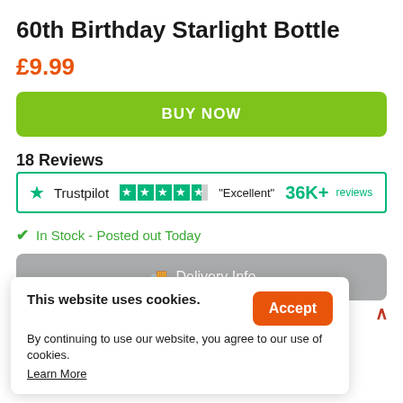60th Birthday Starlight Bottle
£9.99
BUY NOW
18 Reviews
[Figure (logo): Trustpilot badge with star rating showing 4.5 stars, text 'Trustpilot', 'Excellent', and '36K+ reviews']
In Stock - Posted out Today
Delivery Info
This website uses cookies. By continuing to use our website, you agree to our use of cookies.
Accept
Learn More
...delightful Starlight ...ide, but lovely star ...ight up wine bottle ...